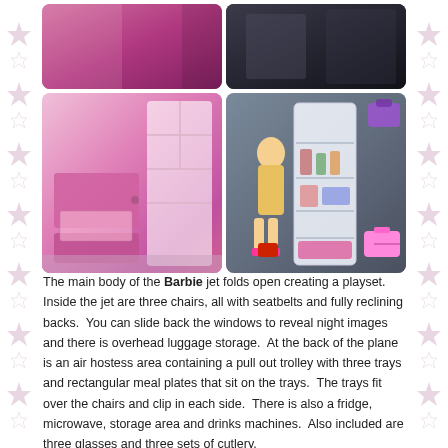[Figure (photo): Four-panel photo grid showing Barbie jet playset details: top-left shows pink/mauve interior surface, top-right shows dark background scene, bottom-left shows pink interior with storage shelves and doors, bottom-right shows white refrigerator/shelf unit with Barbie doll and pink suitcase accessories.]
The main body of the Barbie jet folds open creating a playset. Inside the jet are three chairs, all with seatbelts and fully reclining backs. You can slide back the windows to reveal night images and there is overhead luggage storage. At the back of the plane is an air hostess area containing a pull out trolley with three trays and rectangular meal plates that sit on the trays. The trays fit over the chairs and clip in each side. There is also a fridge, microwave, storage area and drinks machines. Also included are three glasses and three sets of cutlery.